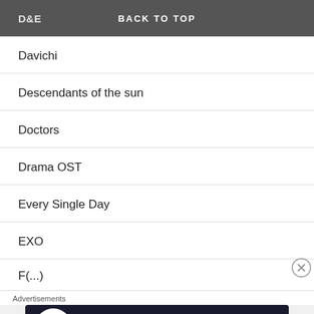D&E | BACK TO TOP
Davichi
Descendants of the sun
Doctors
Drama OST
Every Single Day
EXO
F(...)
[Figure (infographic): Advertisement banner: dark navy background with circular icon (person uploading icon in white on dark circle), teal text 'Teach freely', grey subtext 'Make money selling online courses.']
Advertisements